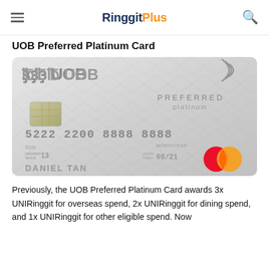RinggitPlus
UOB Preferred Platinum Card
[Figure (photo): UOB Preferred Platinum Mastercard credit card — silver card with geometric diamond pattern, UOB logo top left, contactless symbol top right, chip on left, card number 5222 2200 8888 8888, member since 13, good thru 08/21, cardholder name DANIEL TAN, Mastercard logo bottom right.]
Previously, the UOB Preferred Platinum Card awards 3x UNIRinggit for overseas spend, 2x UNIRinggit for dining spend, and 1x UNIRinggit for other eligible spend. Now